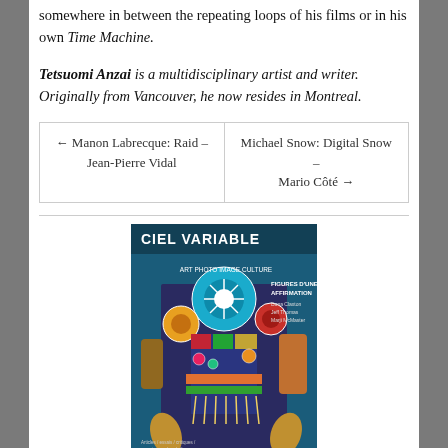somewhere in between the repeating loops of his films or in his own Time Machine.
Tetsuomi Anzai is a multidisciplinary artist and writer. Originally from Vancouver, he now resides in Montreal.
← Manon Labrecque: Raid – Jean-Pierre Vidal | Michael Snow: Digital Snow – Mario Côté →
[Figure (photo): Magazine cover of Ciel Variable featuring a person in colorful Indigenous regalia with beaded accessories and decorative elements. The cover reads 'CIEL VARIABLE', 'FIGURES D'UNE AFFIRMATION', with names 'Dana Claxton, Jeff Thomas, Marji McMaster'.]